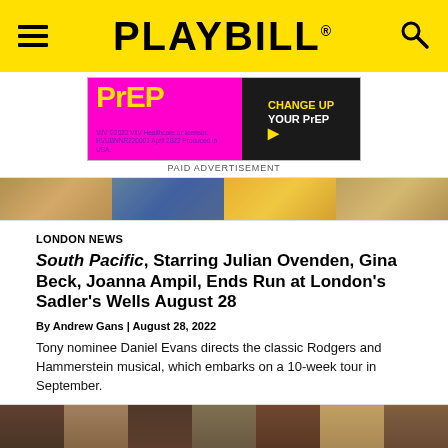PLAYBILL
[Figure (photo): Advertisement banner for PrEP: CHange UP YOUR PrEP. Pink and dark background with yellow PrEP logo text. ViiV ©2022 ViiV Healthcare or licensor. HVUBNNR220001 April 2022 Produced in USA.]
PAID ADVERTISEMENT
[Figure (photo): Hero image strip showing colorful floral and costume details]
LONDON NEWS
South Pacific, Starring Julian Ovenden, Gina Beck, Joanna Ampil, Ends Run at London's Sadler's Wells August 28
By Andrew Gans | August 28, 2022
Tony nominee Daniel Evans directs the classic Rodgers and Hammerstein musical, which embarks on a 10-week tour in September.
[Figure (photo): Production photo from South Pacific showing cast members in period costumes on stage]